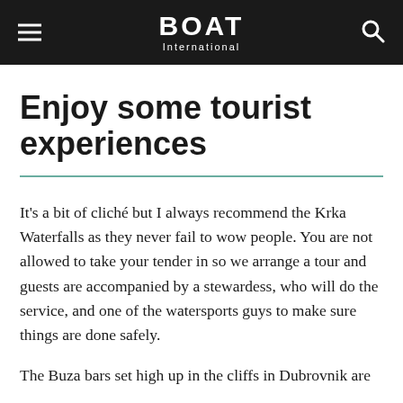BOAT International
Enjoy some tourist experiences
It's a bit of cliché but I always recommend the Krka Waterfalls as they never fail to wow people. You are not allowed to take your tender in so we arrange a tour and guests are accompanied by a stewardess, who will do the service, and one of the watersports guys to make sure things are done safely.
The Buza bars set high up in the cliffs in Dubrovnik are